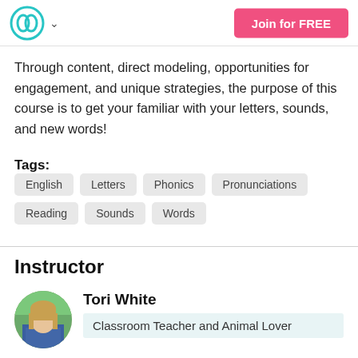Join for FREE
Through content, direct modeling, opportunities for engagement, and unique strategies, the purpose of this course is to get your familiar with your letters, sounds, and new words!
Tags: English  Letters  Phonics  Pronunciations  Reading  Sounds  Words
Instructor
Tori White
Classroom Teacher and Animal Lover